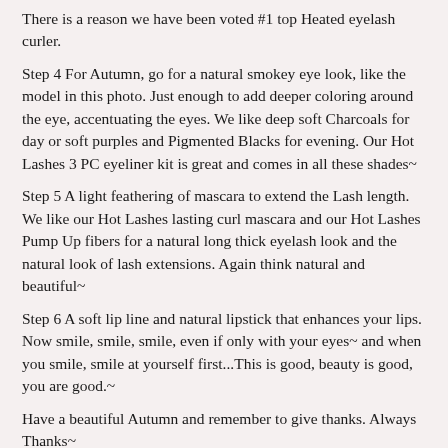There is a reason we have been voted #1 top Heated eyelash curler.
Step 4 For Autumn, go for a natural smokey eye look, like the model in this photo. Just enough to add deeper coloring around the eye, accentuating the eyes. We like deep soft Charcoals for day or soft purples and Pigmented Blacks for evening. Our Hot Lashes 3 PC eyeliner kit is great and comes in all these shades~
Step 5 A light feathering of mascara to extend the Lash length. We like our Hot Lashes lasting curl mascara and our Hot Lashes Pump Up fibers for a natural long thick eyelash look and the natural look of lash extensions. Again think natural and beautiful~
Step 6 A soft lip line and natural lipstick that enhances your lips. Now smile, smile, smile, even if only with your eyes~ and when you smile, smile at yourself first...This is good, beauty is good, you are good.~
Have a beautiful Autumn and remember to give thanks. Always Thanks~
We are at...